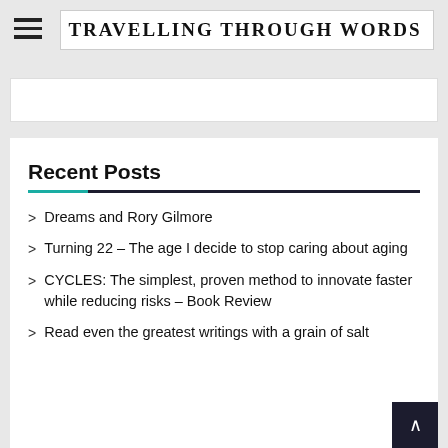Travelling Through Words
Recent Posts
Dreams and Rory Gilmore
Turning 22 – The age I decide to stop caring about aging
CYCLES: The simplest, proven method to innovate faster while reducing risks – Book Review
Read even the greatest writings with a grain of salt